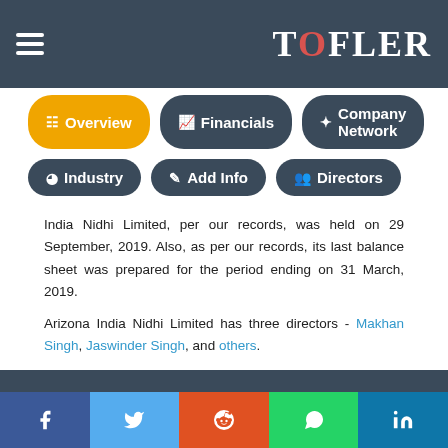TOFLER
[Figure (screenshot): Navigation buttons: Overview (active/yellow), Financials, Company Network, Industry, Add Info, Directors]
India Nidhi Limited, per our records, was held on 29 September, 2019. Also, as per our records, its last balance sheet was prepared for the period ending on 31 March, 2019.
Arizona India Nidhi Limited has three directors - Makhan Singh, Jaswinder Singh, and others.
The Corporate Identification Number (CIN) of Arizona India Nidhi Limited is U65100PB2018PLC047903. The registered office of Arizona India Nidhi Limited is at TEHSIL SUNAM NAMOL, SANGRUR, Sangrur, Punjab.
Social share bar: Facebook, Twitter, Reddit, WhatsApp, LinkedIn